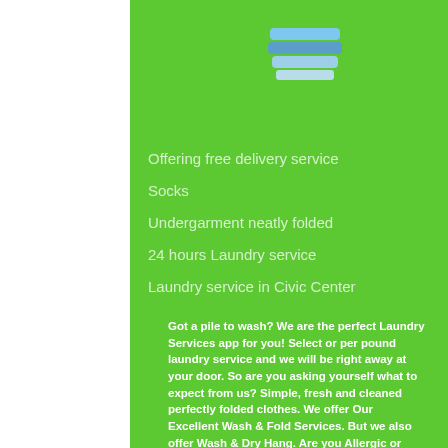[Figure (photo): Person holding a stack of folded laundry/clothes, shown from the waist, in a circular cropped image at the top]
Offering free delivery service
Socks
Undergarment neatly folded
24 hours Laundry service
Laundry service in Civic Center
Got a pile to wash? We are the perfect Laundry Services app for you! Select or per pound laundry service and we will be right away at your door. So are you asking yourself what to expect from us? Simple, fresh and cleaned perfectly folded clothes. We offer Our Excellent Wash & Fold Services. But we also offer Wash & Dry Hang. Are you Allergic or have Delicate Skin? Don't worry, We offer different options for Detergent and softener. This service includes all garments that don't need to be pressed. Hamperapp is not your typical laundry service. We take care of your dirty laundry and turn it to laundry cleaned.